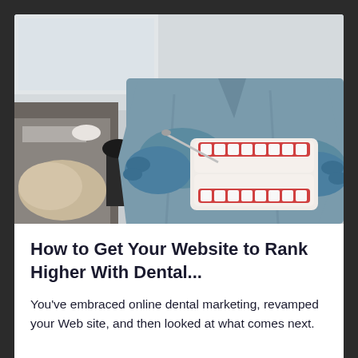[Figure (photo): A dental professional wearing blue scrubs and blue latex gloves holding a dental jaw model with red gums and white teeth, demonstrating brushing technique with a dental instrument. A patient is partially visible in the background sitting in a dental chair.]
How to Get Your Website to Rank Higher With Dental...
You've embraced online dental marketing, revamped your Web site, and then looked at what comes next.